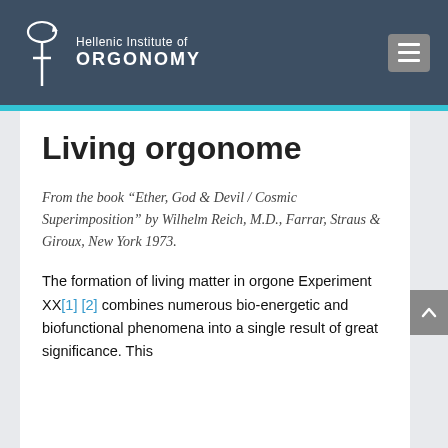Hellenic Institute of ORGONOMY
Living orgonome
From the book “Ether, God & Devil / Cosmic Superimposition” by Wilhelm Reich, M.D., Farrar, Straus & Giroux, New York 1973.
The formation of living matter in orgone Experiment XX[1] [2] combines numerous bio-energetic and biofunctional phenomena into a single result of great significance. This